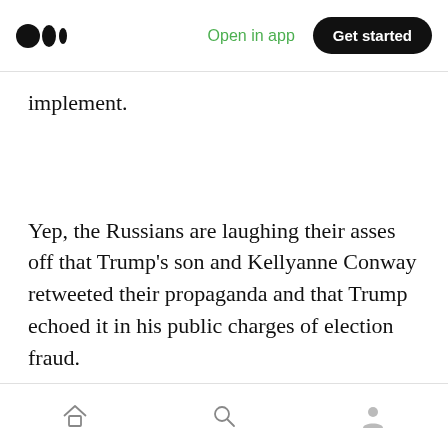Open in app  Get started
implement.
Yep, the Russians are laughing their asses off that Trump's son and Kellyanne Conway retweeted their propaganda and that Trump echoed it in his public charges of election fraud.
[home] [search] [profile]